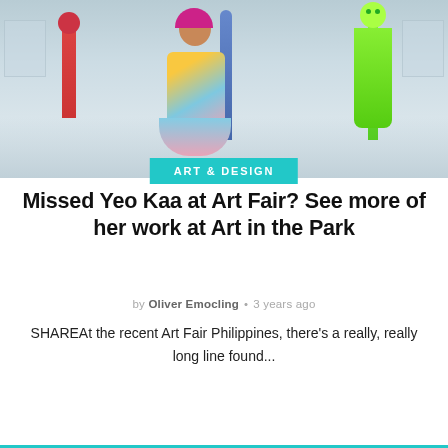[Figure (photo): Gallery interior scene with a woman in colorful layered dress (yellow, blue, pink) with pink hair, posing in a white gallery space. To the left is a tall red figure sculpture, and to the right is a green cartoon-like character sculpture. Artwork on gallery walls in background.]
ART & DESIGN
Missed Yeo Kaa at Art Fair? See more of her work at Art in the Park
by Oliver Emocling • 3 years ago
SHAREAt the recent Art Fair Philippines, there's a really, really long line found...